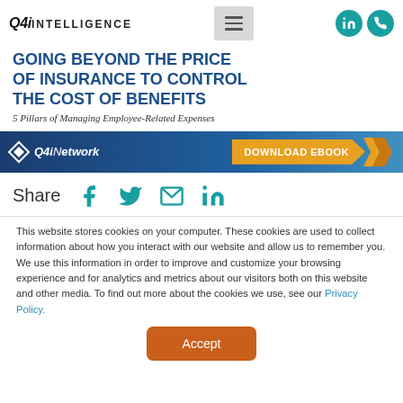Q4i INTELLIGENCE
[Figure (infographic): Banner advertisement: 'Going Beyond the Price of Insurance to Control the Cost of Benefits – 5 Pillars of Managing Employee-Related Expenses' with Q4iNetwork logo and Download eBook button]
Share
This website stores cookies on your computer. These cookies are used to collect information about how you interact with our website and allow us to remember you. We use this information in order to improve and customize your browsing experience and for analytics and metrics about our visitors both on this website and other media. To find out more about the cookies we use, see our Privacy Policy.
Accept